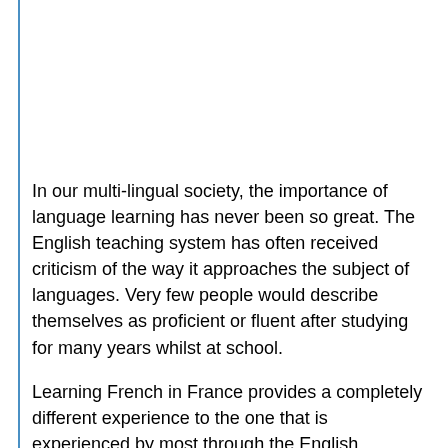In our multi-lingual society, the importance of language learning has never been so great. The English teaching system has often received criticism of the way it approaches the subject of languages. Very few people would describe themselves as proficient or fluent after studying for many years whilst at school.
Learning French in France provides a completely different experience to the one that is experienced by most through the English education system. Firstly, a focus is put on developing a base - a core upon which your language learning can build. Secondly, the mere fact that you are immersed in the language whilst learning provides an...